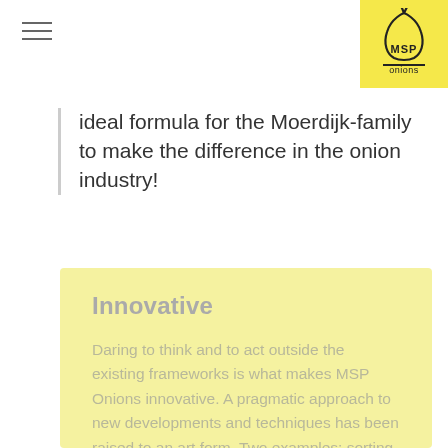[Figure (logo): MSP Onions logo: stylized onion outline above text 'MSP onions' on yellow background]
ideal formula for the Moerdijk-family to make the difference in the onion industry!
Innovative
Daring to think and to act outside the existing frameworks is what makes MSP Onions innovative. A pragmatic approach to new developments and techniques has been raised to an art form. Two examples: sorting by means